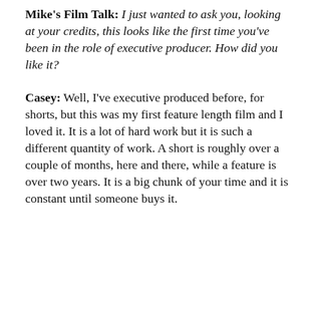Mike's Film Talk: I just wanted to ask you, looking at your credits, this looks like the first time you've been in the role of executive producer. How did you like it?
Casey: Well, I've executive produced before, for shorts, but this was my first feature length film and I loved it. It is a lot of hard work but it is such a different quantity of work. A short is roughly over a couple of months, here and there, while a feature is over two years. It is a big chunk of your time and it is constant until someone buys it.